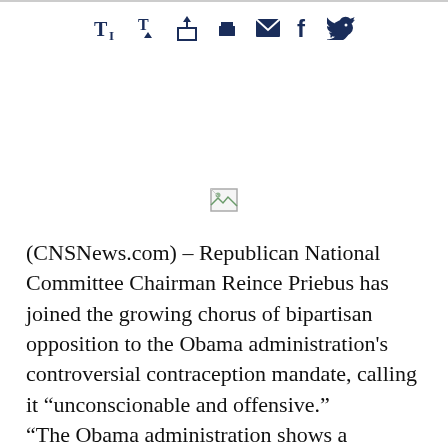toolbar/sharing icons row
[Figure (other): Broken/placeholder image icon]
(CNSNews.com) – Republican National Committee Chairman Reince Priebus has joined the growing chorus of bipartisan opposition to the Obama administration's controversial contraception mandate, calling it “unsconscionable and offensive.” “The Obama administration shows a remarkable disdain for the Constitution,” Priebus wrote in a Politico op-ed Thursday.